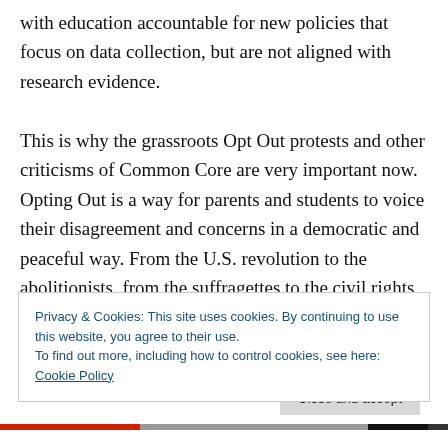with education accountable for new policies that focus on data collection, but are not aligned with research evidence.

This is why the grassroots Opt Out protests and other criticisms of Common Core are very important now. Opting Out is a way for parents and students to voice their disagreement and concerns in a democratic and peaceful way. From the U.S. revolution to the abolitionists, from the suffragettes to the civil rights movements, speaking out against unjust and unwise government
Privacy & Cookies: This site uses cookies. By continuing to use this website, you agree to their use.
To find out more, including how to control cookies, see here: Cookie Policy